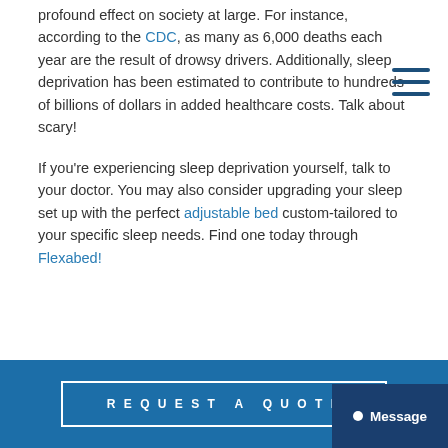profound effect on society at large. For instance, according to the CDC, as many as 6,000 deaths each year are the result of drowsy drivers. Additionally, sleep deprivation has been estimated to contribute to hundreds of billions of dollars in added healthcare costs. Talk about scary!
If you're experiencing sleep deprivation yourself, talk to your doctor. You may also consider upgrading your sleep set up with the perfect adjustable bed custom-tailored to your specific sleep needs. Find one today through Flexabed!
REQUEST A QUOTE